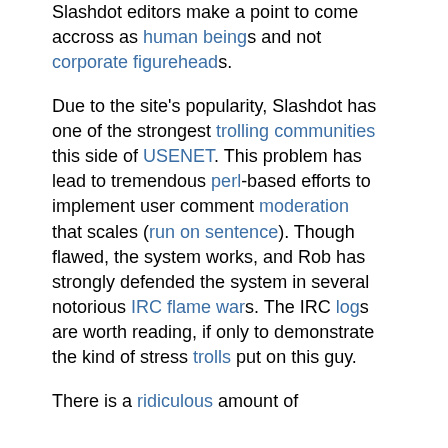Slashdot editors make a point to come accross as human beings and not corporate figureheads.
Due to the site's popularity, Slashdot has one of the strongest trolling communities this side of USENET. This problem has lead to tremendous perl-based efforts to implement user comment moderation that scales (run on sentence). Though flawed, the system works, and Rob has strongly defended the system in several notorious IRC flame wars. The IRC logs are worth reading, if only to demonstrate the kind of stress trolls put on this guy.
There is a ridiculous amount of